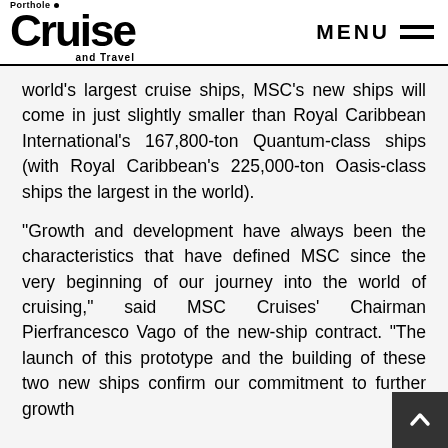Porthole Cruise and Travel | MENU
world's largest cruise ships, MSC's new ships will come in just slightly smaller than Royal Caribbean International's 167,800-ton Quantum-class ships (with Royal Caribbean's 225,000-ton Oasis-class ships the largest in the world).
“Growth and development have always been the characteristics that have defined MSC since the very beginning of our journey into the world of cruising,” said MSC Cruises’ Chairman Pierfrancesco Vago of the new-ship contract. “The launch of this prototype and the building of these two new ships confirm our commitment to further growth